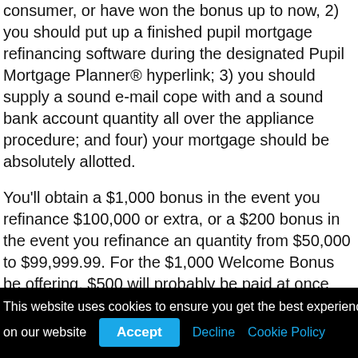consumer, or have won the bonus up to now, 2) you should put up a finished pupil mortgage refinancing software during the designated Pupil Mortgage Planner® hyperlink; 3) you should supply a sound e-mail cope with and a sound bank account quantity all over the appliance procedure; and four) your mortgage should be absolutely allotted.
You'll obtain a $1,000 bonus in the event you refinance $100,000 or extra, or a $200 bonus in the event you refinance an quantity from $50,000 to $99,999.99. For the $1,000 Welcome Bonus be offering, $500 will probably be paid at once through Pupil Mortgage Planner® by means of Giftly. Earnest will routinely transmit $500 in your bank account after the
This website uses cookies to ensure you get the best experience on our website
Accept
Decline
Cookie Policy